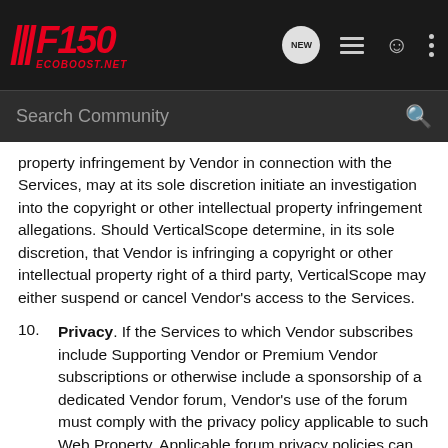[Figure (screenshot): F150 EcoBoost.net website navigation bar with logo, new message bubble, menu icons, and profile icon]
[Figure (screenshot): Search Community search bar with magnifying glass icon]
property infringement by Vendor in connection with the Services, may at its sole discretion initiate an investigation into the copyright or other intellectual property infringement allegations. Should VerticalScope determine, in its sole discretion, that Vendor is infringing a copyright or other intellectual property right of a third party, VerticalScope may either suspend or cancel Vendor's access to the Services.
10. Privacy. If the Services to which Vendor subscribes include Supporting Vendor or Premium Vendor subscriptions or otherwise include a sponsorship of a dedicated Vendor forum, Vendor's use of the forum must comply with the privacy policy applicable to such Web Property. Applicable forum privacy policies can be found on the forums themselves or can be obtained by contacting VerticalScope directly at...